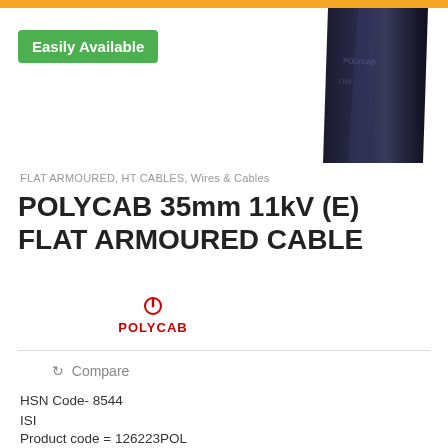[Figure (photo): Dark navy/black armoured cable shown diagonally from top-right, partially cropped, with visible cable markings]
Easily Available
FLAT ARMOURED, HT CABLES, Wires & Cables
POLYCAB 35mm 11kV (E) FLAT ARMOURED CABLE
[Figure (logo): Polycab brand logo in red with power symbol icon above the text POLYCAB]
Compare
HSN Code- 8544
ISI
Product code = 126223POL